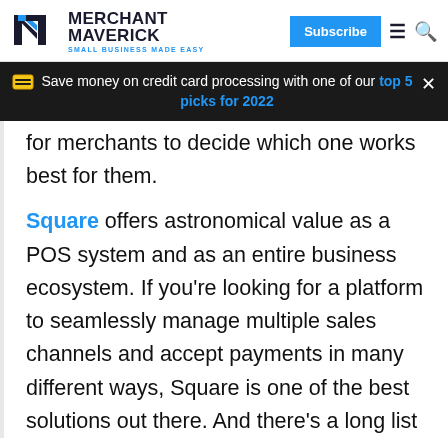MERCHANT MAVERICK | SMALL BUSINESS MADE EASY | Subscribe
Save money on credit card processing with one of our top 5 picks for 2022
for merchants to decide which one works best for them.
Square offers astronomical value as a POS system and as an entire business ecosystem. If you're looking for a platform to seamlessly manage multiple sales channels and accept payments in many different ways, Square is one of the best solutions out there. And there's a long list